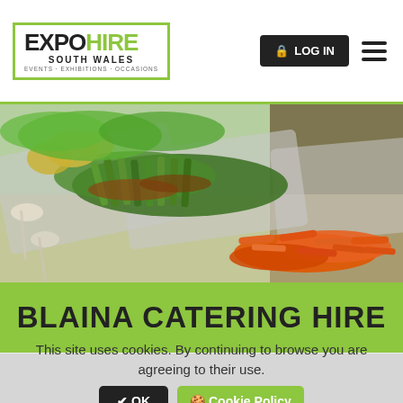[Figure (logo): Expo Hire South Wales logo with green bracket border and tagline EVENTS · EXHIBITIONS · OCCASIONS]
[Figure (photo): Buffet food trays with vegetables including asparagus wrapped in bacon, carrots, leafy greens and other catering dishes on heated trays]
BLAINA CATERING HIRE
Blaina Event Hire
This site uses cookies. By continuing to browse you are agreeing to their use.